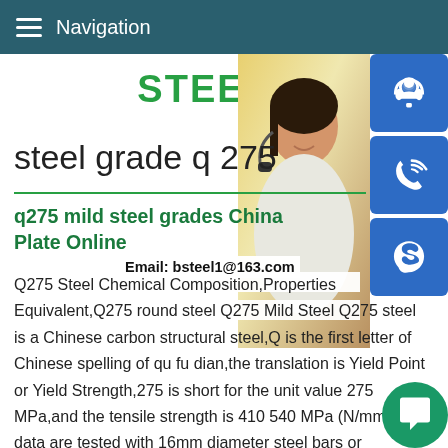Navigation
STEEL GR
[Figure (photo): Woman with headset customer service photo with MANUAL SE and QUOTING O labels and Email: bsteel1@163.com overlay]
steel grade q 275
q275 mild steel grades China Plate Online
Q275 Steel Chemical Composition,Properties Equivalent,Q275 round steel Q275 Mild Steel Q275 steel is a Chinese carbon structural steel,Q is the first letter of Chinese spelling of qu fu dian,the translation is Yield Point or Yield Strength,275 is short for the unit value 275 MPa,and the tensile strength is 410 540 MPa (N/mm2),all data are tested with 16mm diameter steel bars or